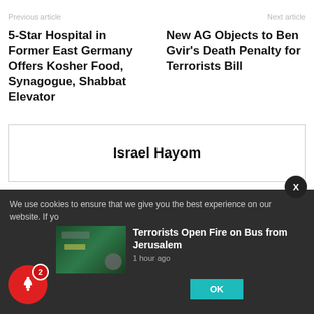Previous article    Next article
5-Star Hospital in Former East Germany Offers Kosher Food, Synagogue, Shabbat Elevator
New AG Objects to Ben Gvir's Death Penalty for Terrorists Bill
[Figure (logo): Israel Hayom logo text centered in bordered box]
We use cookies to ensure that we give you the best experience on our website. If yo
[Figure (screenshot): Thumbnail image of bus/night scene, green tones]
Terrorists Open Fire on Bus from Jerusalem
1 hour ago
OK